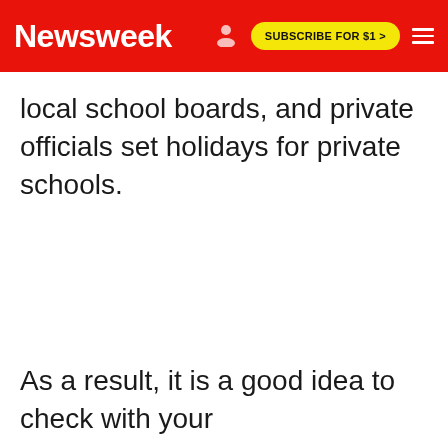Newsweek | SUBSCRIBE FOR $1 >
local school boards, and private officials set holidays for private schools.
As a result, it is a good idea to check with your